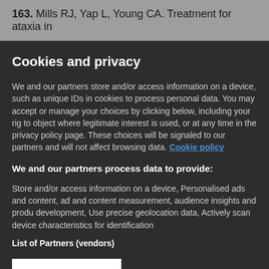163. Mills RJ, Yap L, Young CA. Treatment for ataxia in
Cookies and privacy
We and our partners store and/or access information on a device, such as unique IDs in cookies to process personal data. You may accept or manage your choices by clicking below, including your rig to object where legitimate interest is used, or at any time in the privacy policy page. These choices will be signaled to our partners and will not affect browsing data. Cookie policy
We and our partners process data to provide:
Store and/or access information on a device, Personalised ads and content, ad and content measurement, audience insights and produ development, Use precise geolocation data, Actively scan device characteristics for identification
List of Partners (vendors)
I Accept